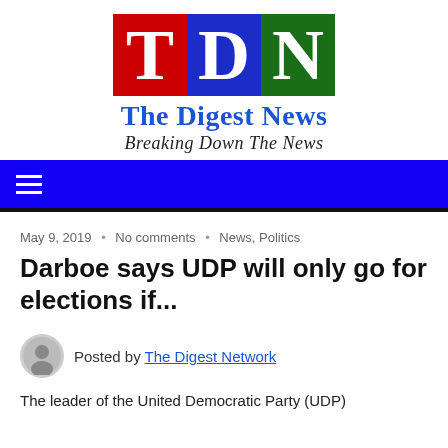[Figure (logo): TDN - The Digest News logo with T in red box, D in blue box, N in green box, and tagline 'Breaking Down The News']
Navigation bar with hamburger menu
May 9, 2019 • No comments • News, Politics
Darboe says UDP will only go for elections if...
Posted by The Digest Network
The leader of the United Democratic Party (UDP)